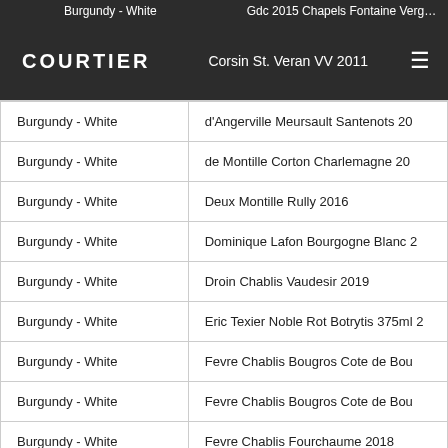COURTIER | Burgundy - White | Corsin St. Veran VV 2011
| Region | Wine |
| --- | --- |
| Burgundy - White | d'Angerville Meursault Santenots 20… |
| Burgundy - White | de Montille Corton Charlemagne 20… |
| Burgundy - White | Deux Montille Rully 2016 |
| Burgundy - White | Dominique Lafon Bourgogne Blanc 2… |
| Burgundy - White | Droin Chablis Vaudesir 2019 |
| Burgundy - White | Eric Texier Noble Rot Botrytis 375ml 2… |
| Burgundy - White | Fevre Chablis Bougros Cote de Bou… |
| Burgundy - White | Fevre Chablis Bougros Cote de Bou… |
| Burgundy - White | Fevre Chablis Fourchaume 2018 |
| Burgundy - White | Fevre Chablis Montmains 2019 |